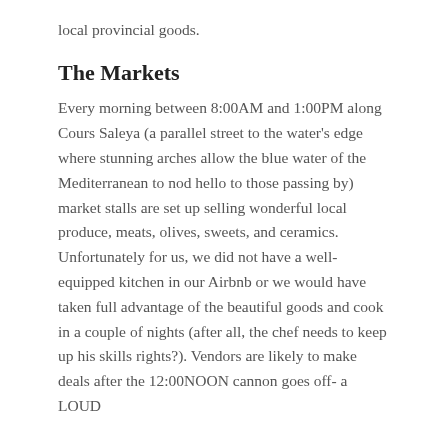local provincial goods.
The Markets
Every morning between 8:00AM and 1:00PM along Cours Saleya (a parallel street to the water's edge where stunning arches allow the blue water of the Mediterranean to nod hello to those passing by) market stalls are set up selling wonderful local produce, meats, olives, sweets, and ceramics. Unfortunately for us, we did not have a well-equipped kitchen in our Airbnb or we would have taken full advantage of the beautiful goods and cook in a couple of nights (after all, the chef needs to keep up his skills rights?). Vendors are likely to make deals after the 12:00NOON cannon goes off- a LOUD